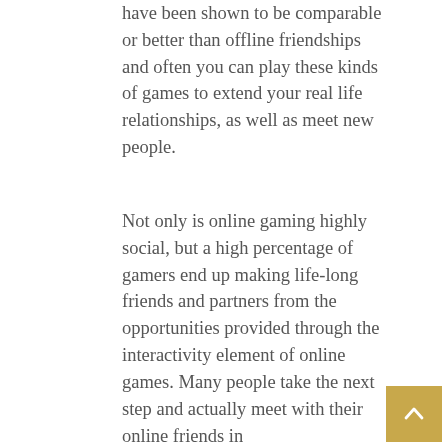have been shown to be comparable or better than offline friendships and often you can play these kinds of games to extend your real life relationships, as well as meet new people.
Not only is online gaming highly social, but a high percentage of gamers end up making life-long friends and partners from the opportunities provided through the interactivity element of online games. Many people take the next step and actually meet with their online friends in offline situations.